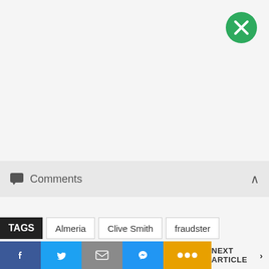[Figure (other): Green circular close/dismiss button with white X in upper right corner]
Comments
TAGS  Almeria  Clive Smith  fraudster
NEXT ARTICLE >